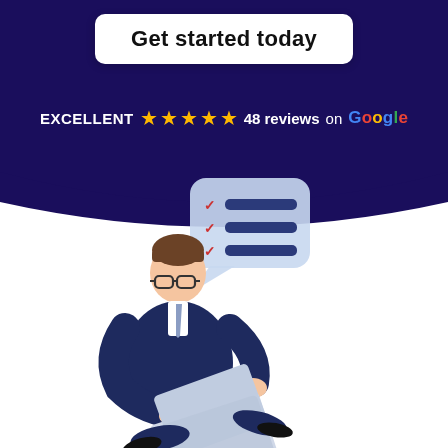Get started today
EXCELLENT ★★★★★ 48 reviews on Google
[Figure (illustration): 3D cartoon illustration of a businessman in a dark suit sitting casually, wearing glasses, working on a laptop. A speech bubble with a checklist (three red checkmarks with blue lines) floats above him.]